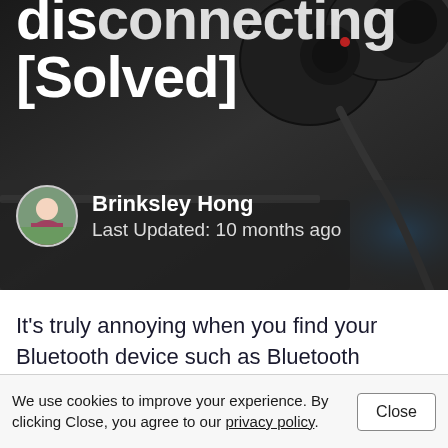[Figure (photo): Dark background image showing Bluetooth headphones/earbuds on a dark surface, partially cropped at top]
disconnecting [Solved]
Brinksley Hong
Last Updated: 10 months ago
It's truly annoying when you find your Bluetooth device such as Bluetooth keyboard or headset keeps disconnecting. This sort of
We use cookies to improve your experience. By clicking Close, you agree to our privacy policy.